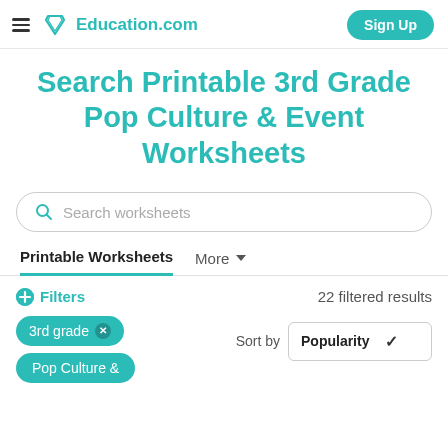Education.com | Sign Up
Search Printable 3rd Grade Pop Culture & Event Worksheets
Search worksheets
Printable Worksheets | More
Filters | 22 filtered results
3rd grade
Pop Culture &
Sort by Popularity